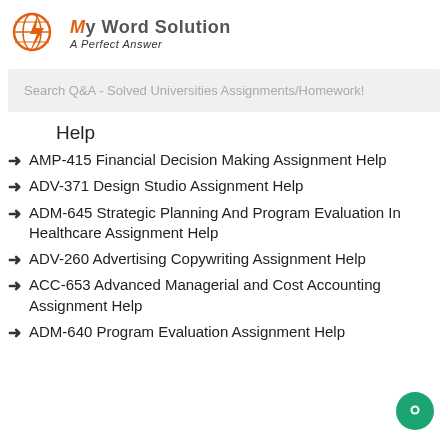[Figure (logo): My Word Solution logo with orange lightning bolt globe icon and text 'Word Solution - A Perfect Answer']
Search Q&A - Solved Universities Assignments/Homework!
Help
AMP-415 Financial Decision Making Assignment Help
ADV-371 Design Studio Assignment Help
ADM-645 Strategic Planning And Program Evaluation In Healthcare Assignment Help
ADV-260 Advertising Copywriting Assignment Help
ACC-653 Advanced Managerial and Cost Accounting Assignment Help
ADM-640 Program Evaluation Assignment Help